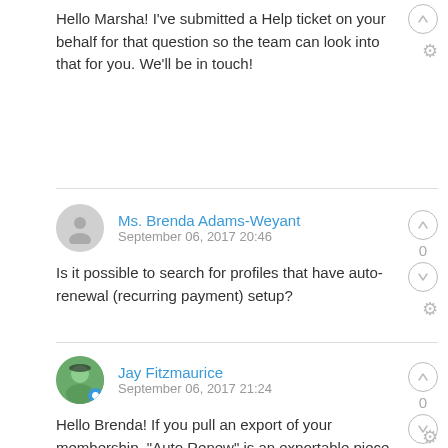Hello Marsha! I've submitted a Help ticket on your behalf for that question so the team can look into that for you. We'll be in touch!
Ms. Brenda Adams-Weyant
September 06, 2017 20:46
Is it possible to search for profiles that have auto-renewal (recurring payment) setup?
Jay Fitzmaurice
September 06, 2017 21:24
Hello Brenda! If you pull an export of your membership, "Auto Renew" is an exportable piece of information that will be listed as either Off/On. I hope that helps!